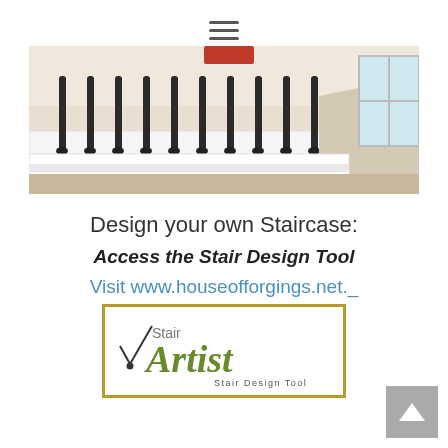≡ (hamburger menu icon)
[Figure (photo): Photo of a staircase interior with dark iron balusters and white painted base rail, with a window visible on the right side.]
Design your own Staircase:
Access the Stair Design Tool
Visit www.houseofforgings.net.
[Figure (logo): Stair Artist Stair Design Tool logo — a gold-bordered box containing the words 'Stair Artist' with 'Artist' in italic green script, 'Stair Design Tool' below, and a clock hand graphic on the left.]